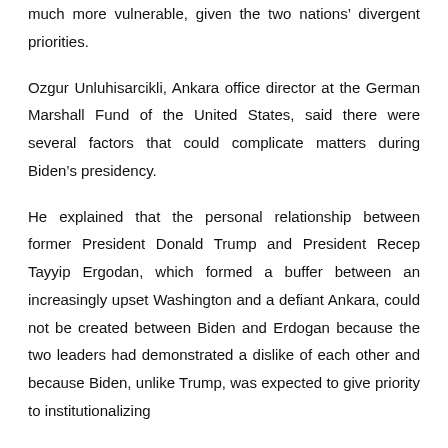much more vulnerable, given the two nations' divergent priorities.
Ozgur Unluhisarcikli, Ankara office director at the German Marshall Fund of the United States, said there were several factors that could complicate matters during Biden's presidency.
He explained that the personal relationship between former President Donald Trump and President Recep Tayyip Ergodan, which formed a buffer between an increasingly upset Washington and a defiant Ankara, could not be created between Biden and Erdogan because the two leaders had demonstrated a dislike of each other and because Biden, unlike Trump, was expected to give priority to institutionalizing